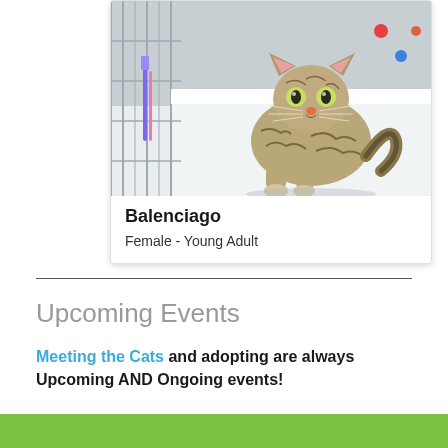[Figure (photo): A tabby cat sitting in a shelter cage on a white surface, looking up at the camera. The cage has colorful dots and items visible in the background.]
Balenciago
Female - Young Adult
Upcoming Events
Meeting the Cats and adopting are always Upcoming AND Ongoing events!